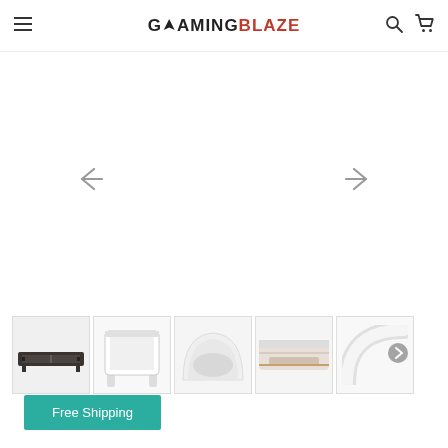GamingBlaze - navigation header with hamburger menu, logo, search and cart icons
[Figure (photo): Main product image area (blank/white) for an air hockey table, with left and right navigation arrows]
[Figure (photo): Thumbnail 1: Dark air hockey table full view]
[Figure (photo): Thumbnail 2: White air hockey table from above]
[Figure (photo): Thumbnail 3: Close-up of air hockey table curved edge/hood]
[Figure (photo): Thumbnail 4: Close-up of side rail detail]
[Figure (photo): Thumbnail 5: Close-up of curved corner detail, with right arrow navigation]
Free Shipping